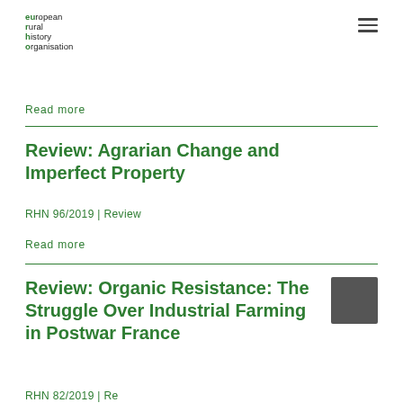eu ropean r ural h istory o rganisation
Read more
Review: Agrarian Change and Imperfect Property
RHN 96/2019 | Review
Read more
Review: Organic Resistance: The Struggle Over Industrial Farming in Postwar France
RHN 82/2019 | Review